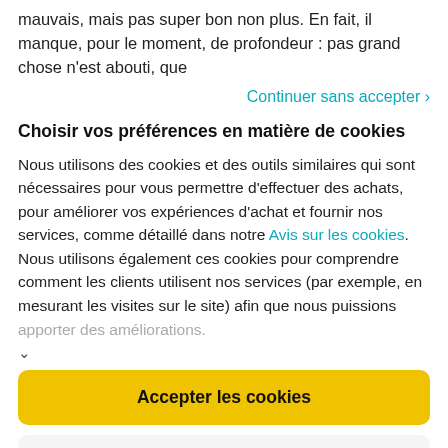mauvais, mais pas super bon non plus. En fait, il manque, pour le moment, de profondeur : pas grand chose n'est abouti, que
Continuer sans accepter ›
Choisir vos préférences en matière de cookies
Nous utilisons des cookies et des outils similaires qui sont nécessaires pour vous permettre d'effectuer des achats, pour améliorer vos expériences d'achat et fournir nos services, comme détaillé dans notre Avis sur les cookies. Nous utilisons également ces cookies pour comprendre comment les clients utilisent nos services (par exemple, en mesurant les visites sur le site) afin que nous puissions apporter des améliorations.
Accepter les cookies
Personnaliser les cookies